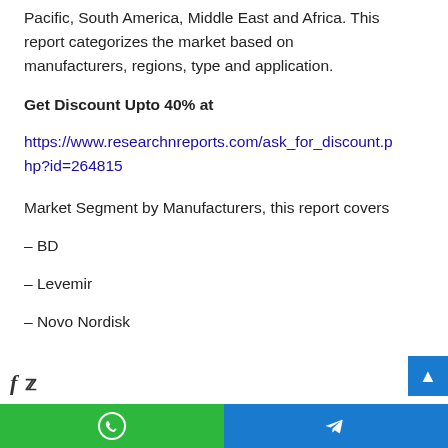Pacific, South America, Middle East and Africa. This report categorizes the market based on manufacturers, regions, type and application.
Get Discount Upto 40% at https://www.researchnreports.com/ask_for_discount.php?id=264815
Market Segment by Manufacturers, this report covers
– BD
– Levemir
– Novo Nordisk